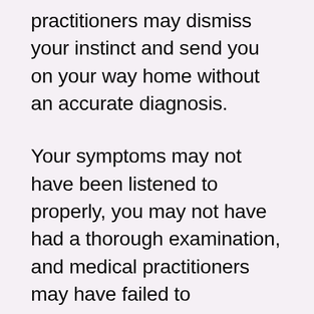practitioners may dismiss your instinct and send you on your way home without an accurate diagnosis.
Your symptoms may not have been listened to properly, you may not have had a thorough examination, and medical practitioners may have failed to acknowledge your medical history. If there really was something wrong and you were not diagnosed properly, or even not at all, then you may be a victim of neglect from medical malpractice and misdiagnosis.